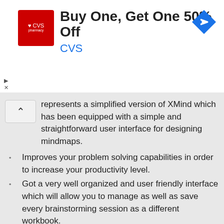[Figure (other): CVS Pharmacy advertisement banner: Buy One, Get One 50% Off - CVS, with CVS pharmacy logo and navigation/direction icon]
represents a simplified version of XMind which has been equipped with a simple and straightforward user interface for designing mindmaps.
Improves your problem solving capabilities in order to increase your productivity level.
Got a very well organized and user friendly interface which will allow you to manage as well as save every brainstorming session as a different workbook.
Can highlight your topics by simply adding numbers, priority, flags, smileys and stars.
Lets you choose from various types of diagrams, like flow charts, brainstorming charts, personal